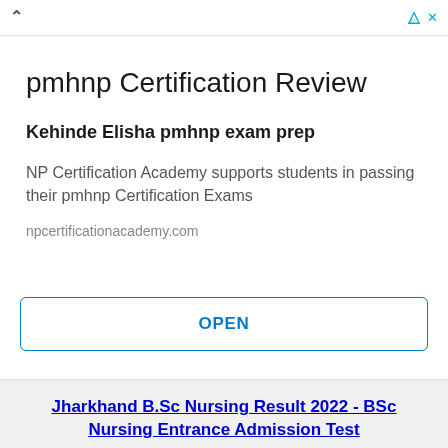[Figure (screenshot): Advertisement top bar with chevron up arrow on left and triangle/X icons on right in cyan/blue]
pmhnp Certification Review
Kehinde Elisha pmhnp exam prep
NP Certification Academy supports students in passing their pmhnp Certification Exams
npcertificationacademy.com
OPEN
Jharkhand B.Sc Nursing Result 2022 - BSc Nursing Entrance Admission Test